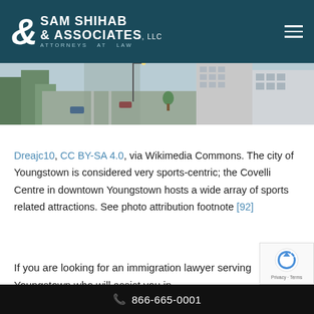Sam Shihab & Associates, LLC — Attorneys at Law
[Figure (photo): Aerial view of downtown Youngstown city street intersection with buildings]
Dreajc10, CC BY-SA 4.0, via Wikimedia Commons. The city of Youngstown is considered very sports-centric; the Covelli Centre in downtown Youngstown hosts a wide array of sports related attractions. See photo attribution footnote [92]
If you are looking for an immigration lawyer serving Youngstown who will assist you in
866-665-0001